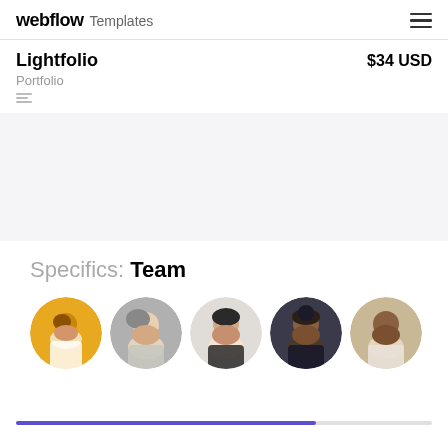webflow Templates
Lightfolio
Portfolio
$34 USD
[Figure (screenshot): Light gray preview area placeholder for Lightfolio portfolio template]
Specifics: Team
[Figure (illustration): Five circular portrait avatars of team members displayed in a row]
[Figure (other): Blue/indigo progress bar at the bottom, approximately 72% filled]